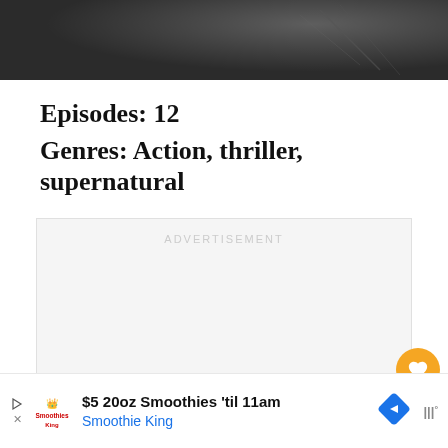[Figure (photo): Dark blurred banner photo at top of page, showing obscured background image]
Episodes: 12
Genres: Action, thriller, supernatural
[Figure (other): Advertisement placeholder box with 'ADVERTISEMENT' label in light gray]
[Figure (other): Orange circular heart/favorite FAB button on right side]
[Figure (other): White circular share FAB button on right side]
$5 20oz Smoothies 'til 11am Smoothie King